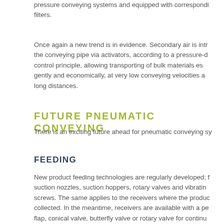pressure conveying systems and equipped with corresponding filters.
Once again a new trend is in evidence. Secondary air is introduced into the conveying pipe via activators, according to a pressure-dependent control principle, allowing transporting of bulk materials especially gently and economically, at very low conveying velocities and over long distances.
FUTURE PNEUMATIC CONVEYING
There is an exciting future ahead for pneumatic conveying sy...
FEEDING
New product feeding technologies are regularly developed; featuring suction nozzles, suction hoppers, rotary valves and vibrating screws. The same applies to the receivers where the product is collected. In the meantime, receivers are available with a pendulum flap, conical valve, butterfly valve or rotary valve for continuous operation. On the product feeding side, receivers with a butt...